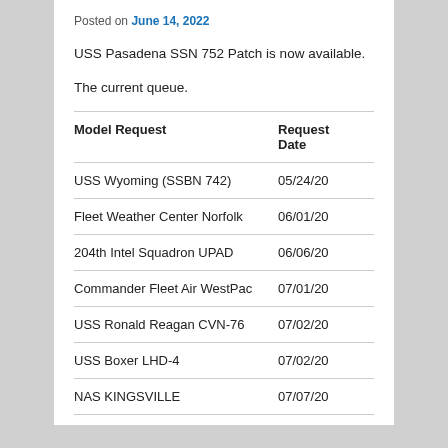Posted on June 14, 2022
USS Pasadena SSN 752 Patch is now available.
The current queue.
| Model Request | Request Date |
| --- | --- |
| USS Wyoming (SSBN 742) | 05/24/20 |
| Fleet Weather Center Norfolk | 06/01/20 |
| 204th Intel Squadron UPAD | 06/06/20 |
| Commander Fleet Air WestPac | 07/01/20 |
| USS Ronald Reagan CVN-76 | 07/02/20 |
| USS Boxer LHD-4 | 07/02/20 |
| NAS KINGSVILLE | 07/07/20 |